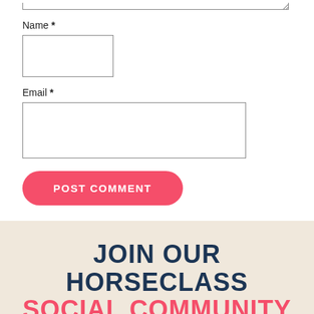[Figure (screenshot): Bottom edge of a textarea input field with resize handle in upper-right corner]
Name *
[Figure (screenshot): Empty Name text input field]
Email *
[Figure (screenshot): Empty Email text input field]
POST COMMENT
JOIN OUR HORSECLASS SOCIAL COMMUNITY